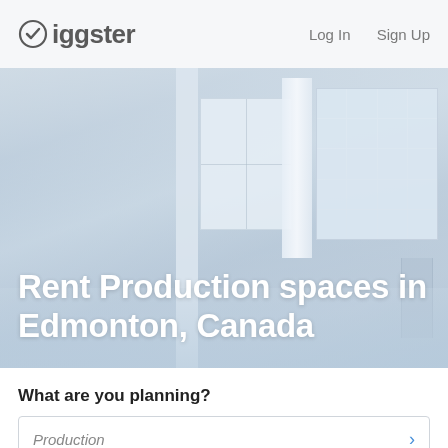Giggster | Log In | Sign Up
[Figure (photo): Interior of a large bright white studio space with polished floors, large industrial windows, fabric curtains, and a pipe rack. Shown in blue-grey monochrome tones.]
Rent Production spaces in Edmonton, Canada
What are you planning?
Production